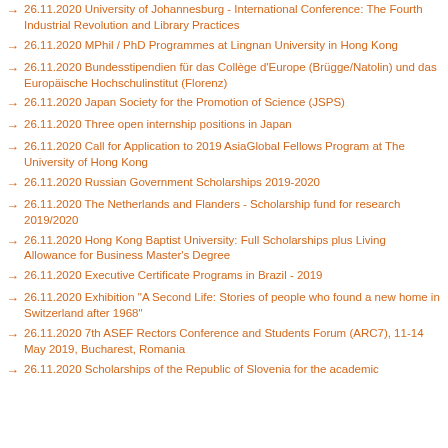26.11.2020 University of Johannesburg - International Conference: The Fourth Industrial Revolution and Library Practices
26.11.2020 MPhil / PhD Programmes at Lingnan University in Hong Kong
26.11.2020 Bundesstipendien für das Collège d'Europe (Brügge/Natolin) und das Europäische Hochschulinstitut (Florenz)
26.11.2020 Japan Society for the Promotion of Science (JSPS)
26.11.2020 Three open internship positions in Japan
26.11.2020 Call for Application to 2019 AsiaGlobal Fellows Program at The University of Hong Kong
26.11.2020 Russian Government Scholarships 2019-2020
26.11.2020 The Netherlands and Flanders - Scholarship fund for research 2019/2020
26.11.2020 Hong Kong Baptist University: Full Scholarships plus Living Allowance for Business Master's Degree
26.11.2020 Executive Certificate Programs in Brazil - 2019
26.11.2020 Exhibition "A Second Life: Stories of people who found a new home in Switzerland after 1968"
26.11.2020 7th ASEF Rectors Conference and Students Forum (ARC7), 11-14 May 2019, Bucharest, Romania
26.11.2020 Scholarships of the Republic of Slovenia for the academic year 2019/2020